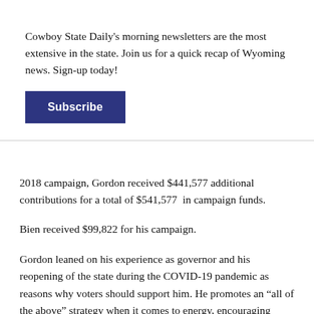Cowboy State Daily's morning newsletters are the most extensive in the state. Join us for a quick recap of Wyoming news. Sign-up today!
Subscribe
2018 campaign, Gordon received $441,577 additional contributions for a total of $541,577 in campaign funds.
Bien received $99,822 for his campaign.
Gordon leaned on his experience as governor and his reopening of the state during the COVID-19 pandemic as reasons why voters should support him. He promotes an “all of the above” strategy when it comes to energy, encouraging investment in green energy while continuing a commitment to fossil fuels.
Bien said humans have played a “negligible” role in